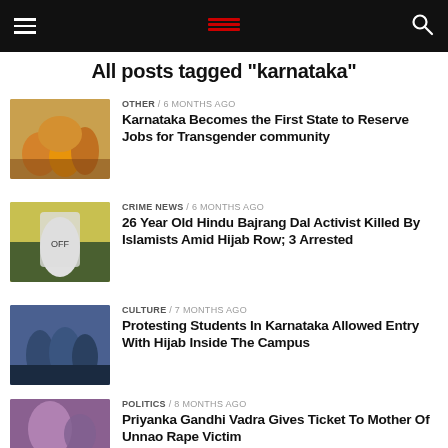Navigation bar with hamburger menu, logo, and search icon
All posts tagged "karnataka"
OTHER / 6 months ago — Karnataka Becomes the First State to Reserve Jobs for Transgender community
CRIME NEWS / 6 months ago — 26 Year Old Hindu Bajrang Dal Activist Killed By Islamists Amid Hijab Row; 3 Arrested
CULTURE / 7 months ago — Protesting Students In Karnataka Allowed Entry With Hijab Inside The Campus
POLITICS / 8 months ago — Priyanka Gandhi Vadra Gives Ticket To Mother Of Unnao Rape Victim